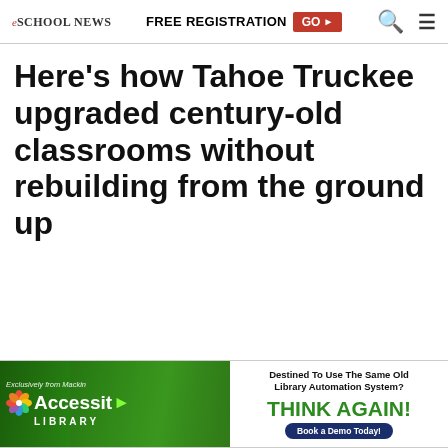eSchool News | FREE REGISTRATION GO ▶ 🔍 ≡
Here's how Tahoe Truckee upgraded century-old classrooms without rebuilding from the ground up
[Figure (infographic): Advertisement banner for Accessit Library by Mackin with green background showing students, and right side showing 'Destined To Use The Same Old Library Automation System? THINK AGAIN! Book a Demo Today!']
In 2014, we were looking for ways to modernize aging classrooms in the Tahoe Truckee (CA) Unified School District to enhance the overall educational experience. Both our student-facing facilities and our infrastructure were quite